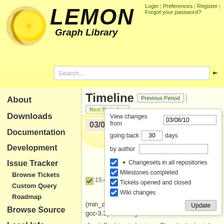[Figure (logo): LEMON Graph Library logo with lemon fruit image and stylized text]
Login | Preferences | Register | Forgot your password?
Search...
Timeline  Previous Period  Next Period →
View changes from 03/08/10 going back 30 days by author
Changesets in all repositories
Milestones completed
Tickets opened and closed
Wiki changes
03/08/10:
15:46 Ticket #354
(min_cost_flow_test.cc fails to compile with gcc-3.3) closed by Peter Kovacs
fixed: Replying to kpeter: > The attached patch [a93f1a27d831] ...
12:29 News edited by Alpar Juttner
(diff)
About
Downloads
Documentation
Development
Issue Tracker
Browse Tickets
Custom Query
Roadmap
Browse Source
Local Info
Mailing Lists